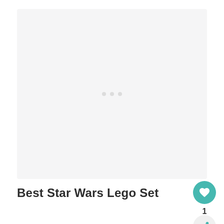[Figure (other): Light gray placeholder image area with three small gray dots in the center, indicating a loading or empty image state]
Best Star Wars Lego Set